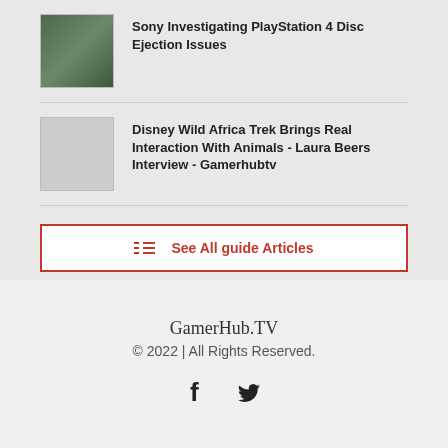Sony Investigating PlayStation 4 Disc Ejection Issues
[Figure (photo): Thumbnail image for Sony PlayStation 4 disc ejection article, showing a dark greenish image]
Disney Wild Africa Trek Brings Real Interaction With Animals - Laura Beers Interview - Gamerhubtv
[Figure (photo): White/blank thumbnail placeholder for Disney Wild Africa Trek article]
See All guide Articles
GamerHub.TV
© 2022 | All Rights Reserved.